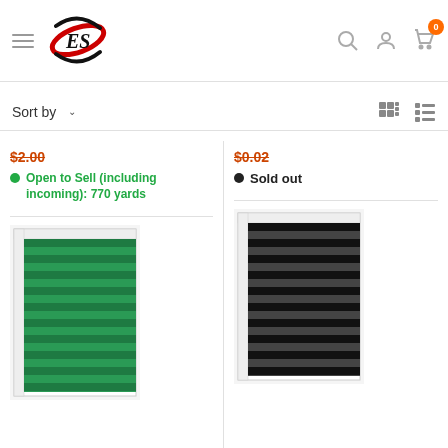ES logo, hamburger menu, search, account, cart (0)
Sort by ▾
$2.00
Open to Sell (including incoming): 770 yards
$0.02
Sold out
[Figure (photo): Green striped fabric/ribbon on a white measuring card]
[Figure (photo): Black/dark gray striped fabric/ribbon on a white measuring card]